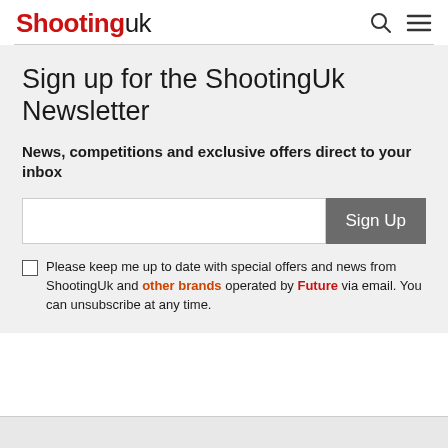Shooting UK
Sign up for the ShootingUk Newsletter
News, competitions and exclusive offers direct to your inbox
Please keep me up to date with special offers and news from ShootingUk and other brands operated by Future via email. You can unsubscribe at any time.